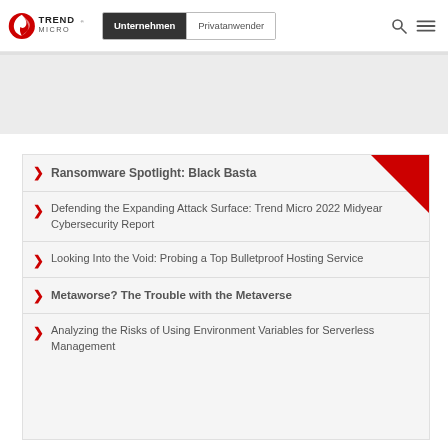Trend Micro — Unternehmen | Privatanwender
Ransomware Spotlight: Black Basta
Defending the Expanding Attack Surface: Trend Micro 2022 Midyear Cybersecurity Report
Looking Into the Void: Probing a Top Bulletproof Hosting Service
Metaworse? The Trouble with the Metaverse
Analyzing the Risks of Using Environment Variables for Serverless Management